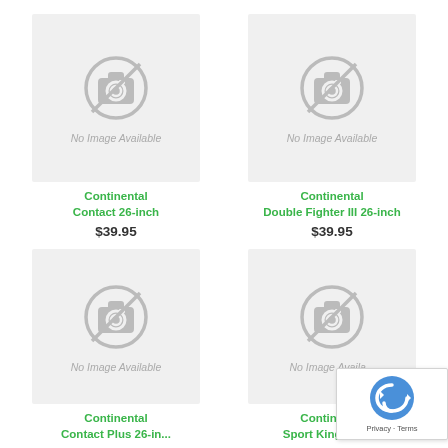[Figure (photo): No Image Available placeholder with camera icon - Continental Contact 26-inch]
Continental
Contact 26-inch
$39.95
[Figure (photo): No Image Available placeholder with camera icon - Continental Double Fighter III 26-inch]
Continental
Double Fighter III 26-inch
$39.95
[Figure (photo): No Image Available placeholder with camera icon - Continental Contact Plus 26-inch]
Continental
Contact Plus 26-inch
[Figure (photo): No Image Available placeholder with camera icon - Continental Sport King 26-inch]
Continental
Sport King 26-inch